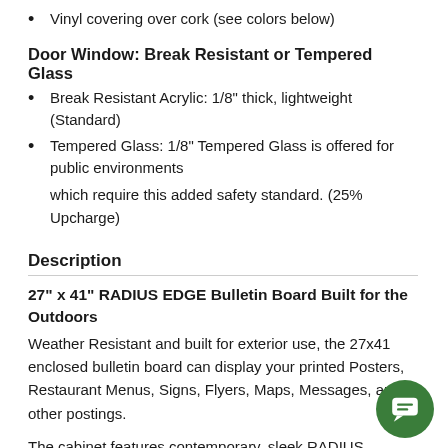Vinyl covering over cork (see colors below)
Door Window: Break Resistant or Tempered Glass
Break Resistant Acrylic: 1/8" thick, lightweight (Standard)
Tempered Glass: 1/8" Tempered Glass is offered for public environments
which require this added safety standard. (25% Upcharge)
Description
27" x 41" RADIUS EDGE Bulletin Board Built for the Outdoors
Weather Resistant and built for exterior use, the 27x41 enclosed bulletin board can display your printed Posters, Restaurant Menus, Signs, Flyers, Maps, Messages, and other postings.
The cabinet features contemporary, sleek RADIUS EDGE (rounded) mitered corners that presents an elegant 27x41 wall mount message board display case --unlike other display cases with sharp mitered corners bov